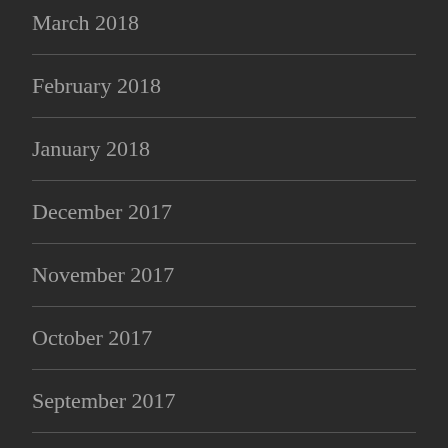March 2018
February 2018
January 2018
December 2017
November 2017
October 2017
September 2017
August 2017
July 2017